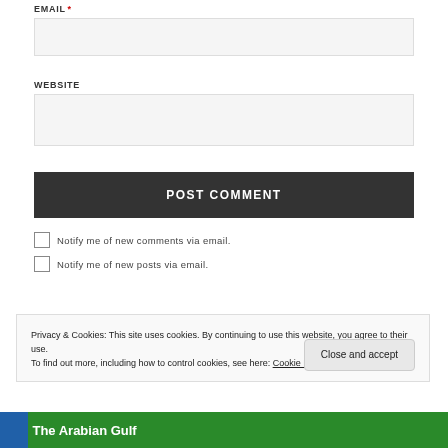EMAIL *
[Figure (screenshot): Email input text field (empty, light gray background)]
WEBSITE
[Figure (screenshot): Website input text field (empty, light gray background)]
POST COMMENT
Notify me of new comments via email.
Notify me of new posts via email.
Privacy & Cookies: This site uses cookies. By continuing to use this website, you agree to their use.
To find out more, including how to control cookies, see here: Cookie Policy
Close and accept
1. The Arabian Gulf